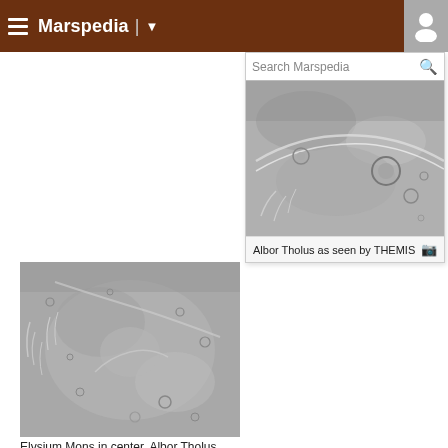Marspedia
[Figure (photo): Albor Tholus as seen by THEMIS — grayscale orbital image showing volcanic terrain with craters and ridges on Mars]
Albor Tholus as seen by THEMIS
[Figure (photo): Elysium Mons in center, Albor Tholus lower right — grayscale orbital image showing Martian volcanic terrain with craters and flow features]
Elysium Mons in center, Albor Tholus lower right